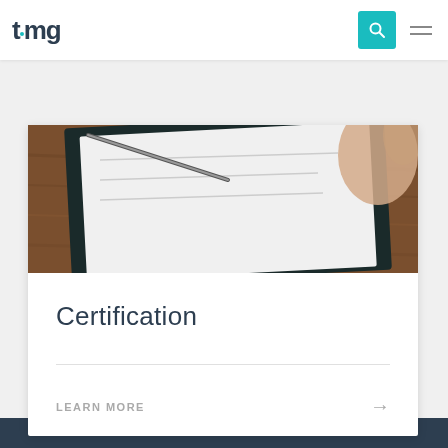timg
[Figure (photo): Photo of a clipboard with papers/documents on a wooden desk surface, with a hand partially visible]
Certification
LEARN MORE →